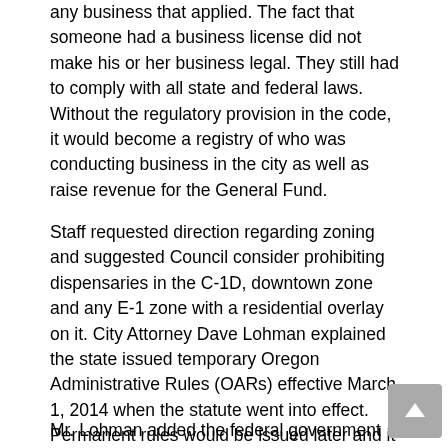any business that applied. The fact that someone had a business license did not make his or her business legal. They still had to comply with all state and federal laws. Without the regulatory provision in the code, it would become a registry of who was conducting business in the city as well as raise revenue for the General Fund.
Staff requested direction regarding zoning and suggested Council consider prohibiting dispensaries in the C-1D, downtown zone and any E-1 zone with a residential overlay on it. City Attorney Dave Lohman explained the state issued temporary Oregon Administrative Rules (OARs) effective March 1, 2014 when the statute went into effect. Permanent rules would be issued later and it was unknown at this time what changes might be made.
Mr. Lohman added the federal government was